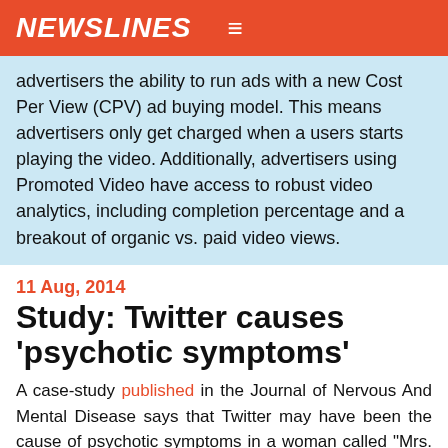NEWSLINES
advertisers the ability to run ads with a new Cost Per View (CPV) ad buying model. This means advertisers only get charged when a users starts playing the video. Additionally, advertisers using Promoted Video have access to robust video analytics, including completion percentage and a breakout of organic vs. paid video views.
11 Aug, 2014
Study: Twitter causes ‘psychotic symptoms’
A case-study published in the Journal of Nervous And Mental Disease says that Twitter may have been the cause of psychotic symptoms in a woman called “Mrs. C.” The article says she showed no signs of mental illness until she became obsessed with Twitter and developed delusions of hidden messages behind people’s tweets. The researchers say Twitter could aggravate psychosis in at-risk populations;